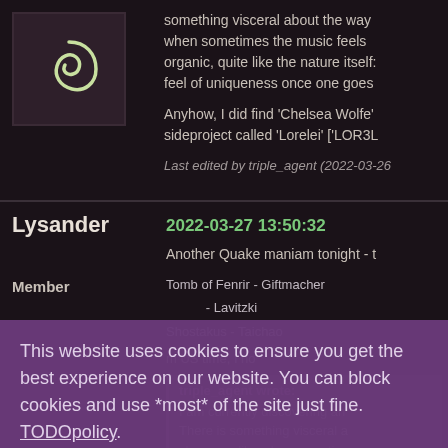[Figure (illustration): Spiral logo on dark purple-brown background]
something visceral about the way when sometimes the music feels organic, quite like the nature itself: feel of uniqueness once one goes
Anyhow, I did find 'Chelsea Wolfe' sideproject called 'Lorelei' ['LOR3L
Last edited by triple_agent (2022-03-26
Lysander
2022-03-27 13:50:32
Member
Another Quake maniam tonight - t
Tomb of Fenrir - Giftmacher
- Lavitzki
Shostakus - Taichao
m US time, I ho
triple_agent wrote:
I am currently discovering an There is something visceral a shown, unlike when sometime but in her case, it is organic,
This website uses cookies to ensure you get the best experience on our website. You can block cookies and use *most* of the site just fine.  TODOpolicy
Got it!